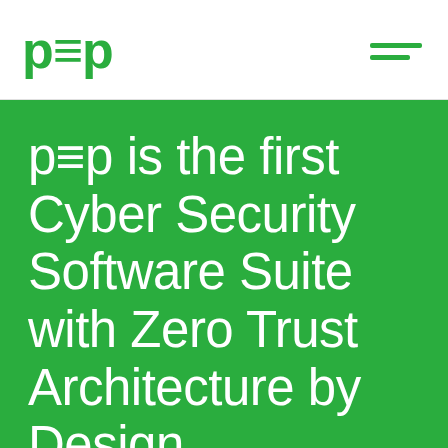p≡p
p≡p is the first Cyber Security Software Suite with Zero Trust Architecture by Design